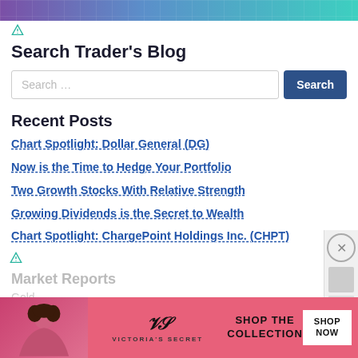[Figure (illustration): Purple to teal gradient banner with grid/mesh pattern]
Search Trader's Blog
[Figure (screenshot): Search input field with placeholder 'Search ...' and blue Search button]
Recent Posts
Chart Spotlight: Dollar General (DG)
Now is the Time to Hedge Your Portfolio
Two Growth Stocks With Relative Strength
Growing Dividends is the Secret to Wealth
Chart Spotlight: ChargePoint Holdings Inc. (CHPT)
Market Reports
Gold
S&P500
Dow
[Figure (illustration): Victoria's Secret advertisement banner - pink background with model photo, VS logo, SHOP THE COLLECTION text, and SHOP NOW button]